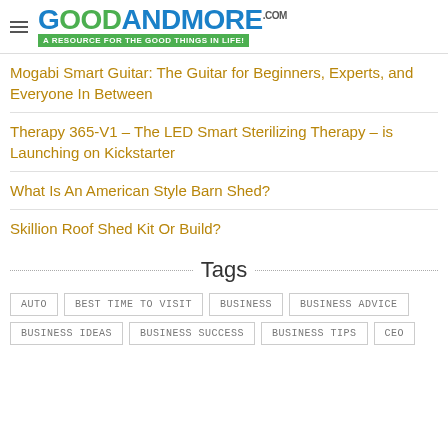GOODANDMORE.COM — A RESOURCE FOR THE GOOD THINGS IN LIFE!
Mogabi Smart Guitar: The Guitar for Beginners, Experts, and Everyone In Between
Therapy 365-V1 – The LED Smart Sterilizing Therapy – is Launching on Kickstarter
What Is An American Style Barn Shed?
Skillion Roof Shed Kit Or Build?
Tags
AUTO
BEST TIME TO VISIT
BUSINESS
BUSINESS ADVICE
BUSINESS IDEAS
BUSINESS SUCCESS
BUSINESS TIPS
CEO